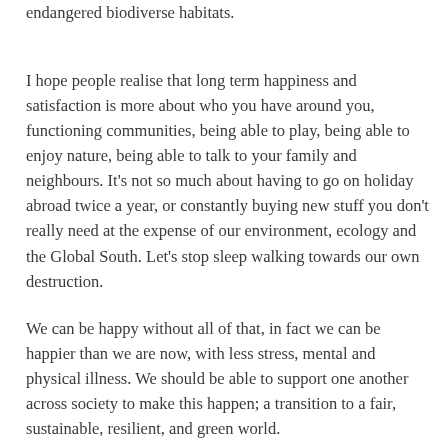endangered biodiverse habitats.
I hope people realise that long term happiness and satisfaction is more about who you have around you, functioning communities, being able to play, being able to enjoy nature, being able to talk to your family and neighbours. It’s not so much about having to go on holiday abroad twice a year, or constantly buying new stuff you don’t really need at the expense of our environment, ecology and the Global South. Let’s stop sleep walking towards our own destruction.
We can be happy without all of that, in fact we can be happier than we are now, with less stress, mental and physical illness. We should be able to support one another across society to make this happen; a transition to a fair, sustainable, resilient, and green world.
Now stop reading my ramblings and go enjoy some nature...